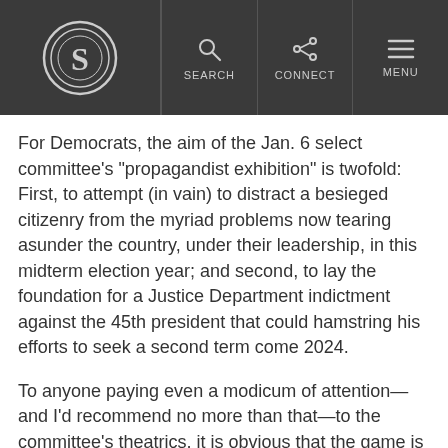Spectator logo | SEARCH | CONNECT | MENU
For Democrats, the aim of the Jan. 6 select committee’s “propagandist exhibition” is twofold: First, to attempt (in vain) to distract a besieged citizenry from the myriad problems now tearing asunder the country, under their leadership, in this midterm election year; and second, to lay the foundation for a Justice Department indictment against the 45th president that could hamstring his efforts to seek a second term come 2024.
To anyone paying even a modicum of attention—and I’d recommend no more than that—to the committee’s theatrics, it is obvious that the game is rigged.